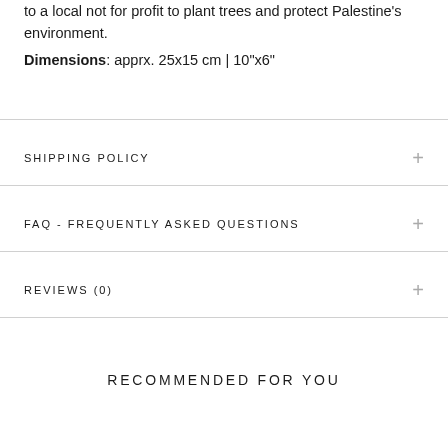to a local not for profit to plant trees and protect Palestine's environment.
Dimensions: apprx. 25x15 cm | 10"x6"
SHIPPING POLICY
FAQ - FREQUENTLY ASKED QUESTIONS
REVIEWS (0)
RECOMMENDED FOR YOU